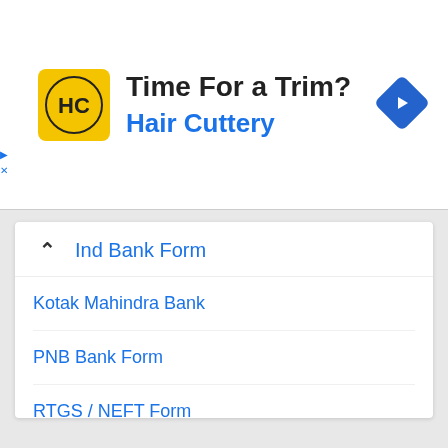[Figure (infographic): Advertisement banner for Hair Cuttery featuring yellow logo with HC text, headline 'Time For a Trim?', subtext 'Hair Cuttery', and a blue navigation diamond icon on the right. Small ad controls (play and close) on the left edge.]
Ind Bank Form
Kotak Mahindra Bank
PNB Bank Form
RTGS / NEFT Form
SBI Bank Form
UCO Bank Form
Union Bank of India form
Yes Bank